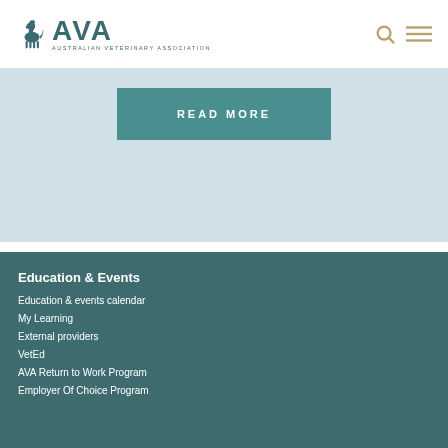AVA — Australian Veterinary Association
[Figure (screenshot): Light blue banner section with a teal READ MORE button]
Education & Events
Education & events calendar
My Learning
External providers
VetEd
AVA Return to Work Program
Employer Of Choice Program